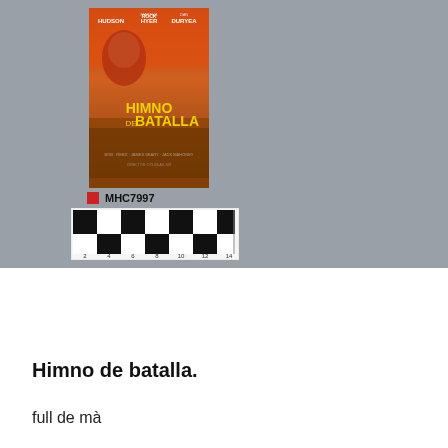[Figure (photo): A photograph of a Spanish film poster for 'Himno de Batalla' (Battle Hymn) featuring Rock Hudson, Martha Hyer, and Dan Duryea, placed on a gray background next to an identification label 'MHC7997' and a black-and-white checkered measurement ruler scale.]
Himno de batalla.
full de mà